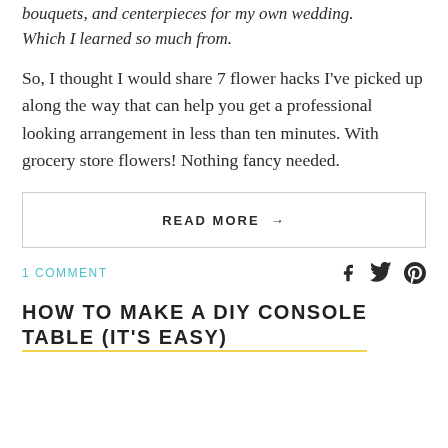bouquets, and centerpieces for my own wedding. Which I learned so much from.
So, I thought I would share 7 flower hacks I've picked up along the way that can help you get a professional looking arrangement in less than ten minutes. With grocery store flowers! Nothing fancy needed.
READ MORE →
1 COMMENT
HOW TO MAKE A DIY CONSOLE TABLE (IT'S EASY)